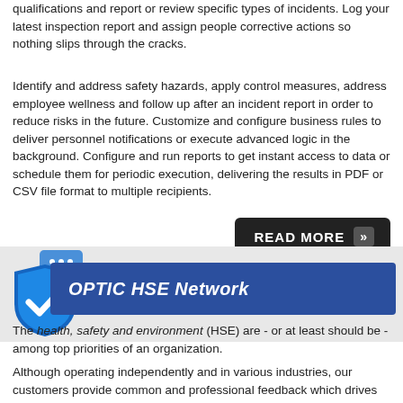qualifications and report or review specific types of incidents. Log your latest inspection report and assign people corrective actions so nothing slips through the cracks.
Identify and address safety hazards, apply control measures, address employee wellness and follow up after an incident report in order to reduce risks in the future. Customize and configure business rules to deliver personnel notifications or execute advanced logic in the background. Configure and run reports to get instant access to data or schedule them for periodic execution, delivering the results in PDF or CSV file format to multiple recipients.
[Figure (other): READ MORE button with double chevron icon]
[Figure (other): OPTIC HSE Network banner with blue shield/checkmark logo on left and dark blue banner bar with italic bold white text]
The health, safety and environment (HSE) are - or at least should be - among top priorities of an organization.
Although operating independently and in various industries, our customers provide common and professional feedback which drives continuously our HSE software towards best practices in health, safety and environment, adding the required functionalities following industry standards.